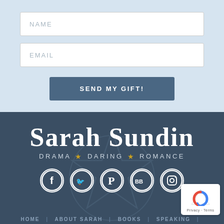[Figure (screenshot): Name input field with placeholder text 'NAME' on light blue background]
[Figure (screenshot): Email input field with placeholder text 'EMAIL' on light blue background]
SEND MY GIFT!
Sarah Sundin
DRAMA ★ DARING ★ ROMANCE
[Figure (logo): Social media icons: Facebook, Twitter, Pinterest, BookBub, Instagram]
HOME | ABOUT SARAH | BOOKS | SPEAKING |